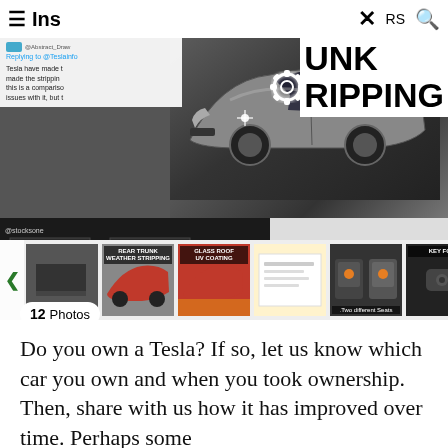≡ Ins  ×  RS  🔍
[Figure (photo): Tesla Model 3 car photo collage showing vehicle comparison between 2018 and 2020 models, with weather stripping issues highlighted. Includes a settings gear icon overlay, social media post, thumbnails of REAR TRUNK WEATHER STRIPPING, GLASS ROOF UV COATING, Two different Seats, KEY FOB images, and a '12 Photos' badge.]
Do you own a Tesla? If so, let us know which car you own and when you took ownership. Then, share with us how it has improved over time. Perhaps some